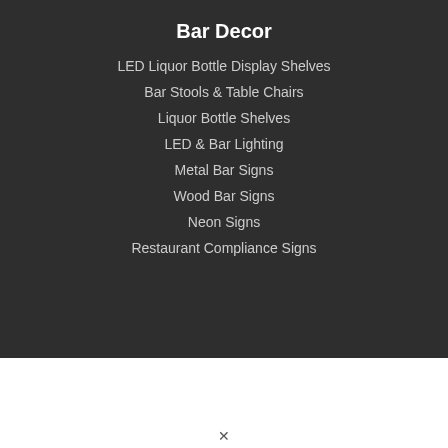Bar Decor
LED Liquor Bottle Display Shelves
Bar Stools & Table Chairs
Liquor Bottle Shelves
LED & Bar Lighting
Metal Bar Signs
Wood Bar Signs
Neon Signs
Restaurant Compliance Signs